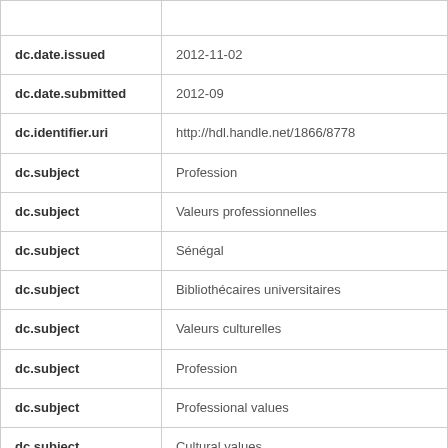| Field | Value |
| --- | --- |
| dc.date.issued | 2012-11-02 |
| dc.date.submitted | 2012-09 |
| dc.identifier.uri | http://hdl.handle.net/1866/8778 |
| dc.subject | Profession |
| dc.subject | Valeurs professionnelles |
| dc.subject | Sénégal |
| dc.subject | Bibliothécaires universitaires |
| dc.subject | Valeurs culturelles |
| dc.subject | Profession |
| dc.subject | Professional values |
| dc.subject | Cultural values |
| dc.subject | Academic librarians |
| dc.subject | Senegal |